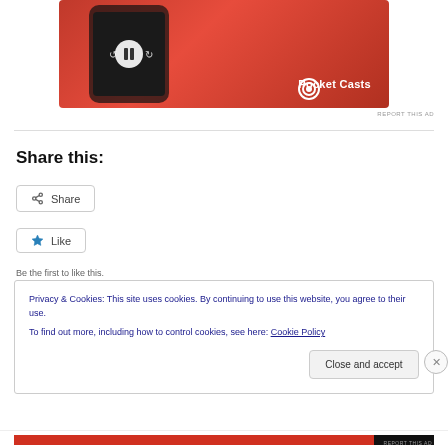[Figure (photo): Pocket Casts app advertisement showing a red smartphone with playback controls and the Pocket Casts logo]
REPORT THIS AD
Share this:
Share
Like
Be the first to like this.
Privacy & Cookies: This site uses cookies. By continuing to use this website, you agree to their use.
To find out more, including how to control cookies, see here: Cookie Policy
Close and accept